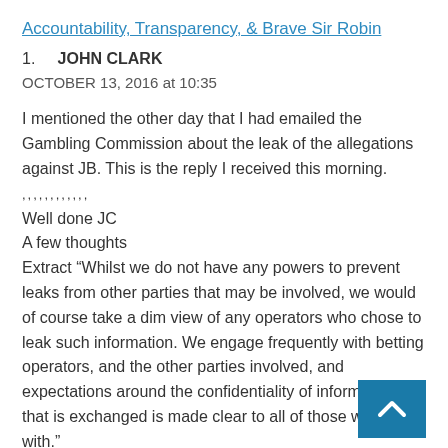Accountability, Transparency, & Brave Sir Robin
1.    JOHN CLARK
OCTOBER 13, 2016 at 10:35
I mentioned the other day that I had emailed the Gambling Commission about the leak of the allegations against JB. This is the reply I received this morning.  ,,,,,,,,,,,,
Well done JC
A few thoughts
Extract "Whilst we do not have any powers to prevent leaks from other parties that may be involved, we would of course take a dim view of any operators who chose to leak such information. We engage frequently with betting operators, and the other parties involved, and expectations around the confidentiality of information that is exchanged is made clear to all of those we work with."
Comment
The JB story emanated solely from an anonymou